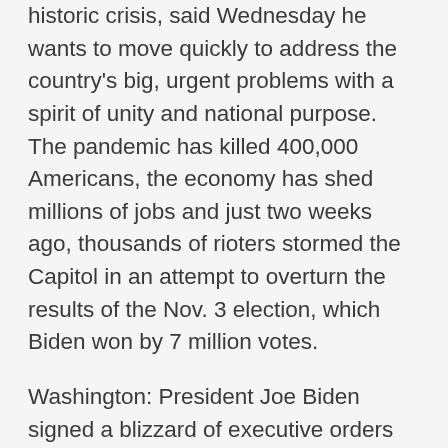historic crisis, said Wednesday he wants to move quickly to address the country's big, urgent problems with a spirit of unity and national purpose. The pandemic has killed 400,000 Americans, the economy has shed millions of jobs and just two weeks ago, thousands of rioters stormed the Capitol in an attempt to overturn the results of the Nov. 3 election, which Biden won by 7 million votes.
Washington: President Joe Biden signed a blizzard of executive orders Wednesday on the coronavirus, immigration and climate change- launching a 10-day cascade of directives reversing the policies of his GOP predecessor as Democrats pushed for even more sweeping and prompt legislative action.
The most pressing of his priorities are measures to combat the ongoing deadly coronavirus pandemic,